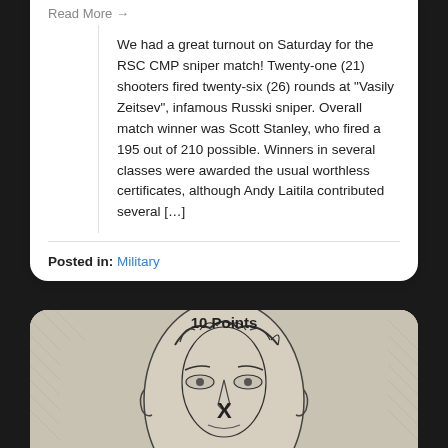Read More →
We had a great turnout on Saturday for the RSC CMP sniper match! Twenty-one (21) shooters fired twenty-six (26) rounds at "Vasily Zeitsev", infamous Russki sniper. Overall match winner was Scott Stanley, who fired a 195 out of 210 possible. Winners in several classes were awarded the usual worthless certificates, although Andy Laitila contributed several […]
Posted in: Military
[Figure (illustration): Pencil sketch of a face (target silhouette) with scoring zones. Label '10 Points' at top, and an 'X' marked near the nose/center of face.]